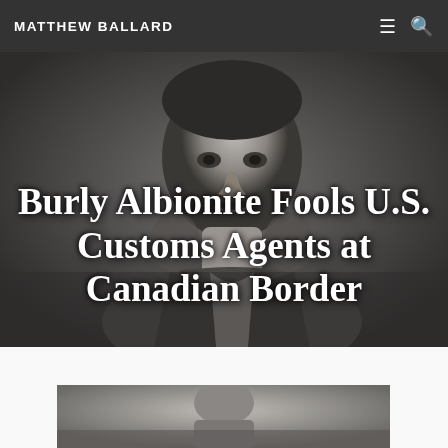MATTHEW BALLARD
[Figure (photo): Black and white portrait of a man, used as hero background image for the article header.]
Burly Albionite Fools U.S. Customs Agents at Canadian Border
[Figure (photo): Black and white thumbnail image partially visible at the bottom of the page.]